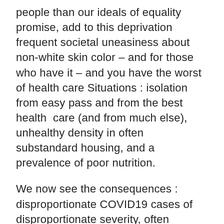people than our ideals of equality promise, add to this deprivation frequent societal uneasiness about non-white skin color – and for those who have it – and you have the worst of health care Situations : isolation from easy pass and from the best health  care (and from much else), unhealthy density in often substandard housing, and a prevalence of poor nutrition.
We now see the consequences : disproportionate COVID19 cases of disproportionate severity, often untreated. The statistics from New Orleans, Detroit, District of Columbia, New York, Chicago,  Miami, and Philadelphia — and even Boston — do not lie, and they do not overstate.